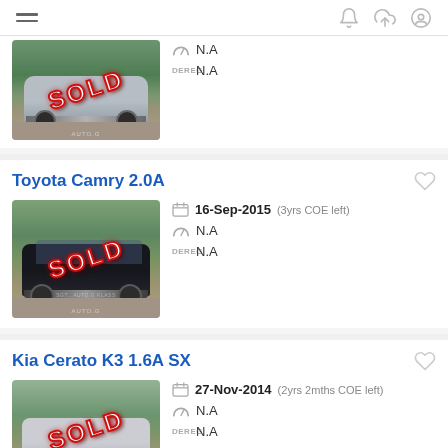Navigation header with hamburger menu and icons
[Figure (photo): Car listing photo with SOLD overlay watermark, partial view at top]
N.A
N.A
Toyota Camry 2.0A
[Figure (photo): Toyota Camry car photo with SOLD overlay and AUTO.G watermark]
16-Sep-2015 (3yrs COE left)
N.A
N.A
Kia Cerato K3 1.6A SX
[Figure (photo): Kia Cerato K3 car photo with SOLD overlay]
27-Nov-2014 (2yrs 2mths COE left)
N.A
N.A